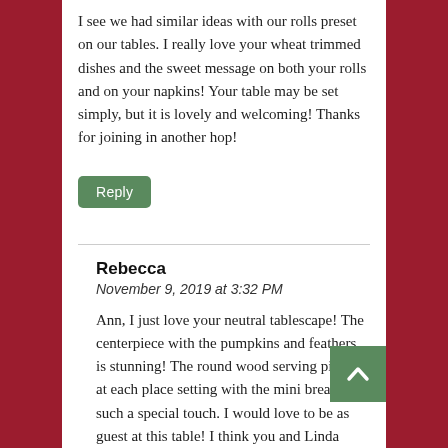I see we had similar ideas with our rolls preset on our tables. I really love your wheat trimmed dishes and the sweet message on both your rolls and on your napkins! Your table may be set simply, but it is lovely and welcoming! Thanks for joining in another hop!
Reply
Rebecca
November 9, 2019 at 3:32 PM
Ann, I just love your neutral tablescape! The centerpiece with the pumpkins and feathers is stunning! The round wood serving pieces at each place setting with the mini breads are such a special touch. I would love to be as guest at this table! I think you and Linda have the same placement! And I love the